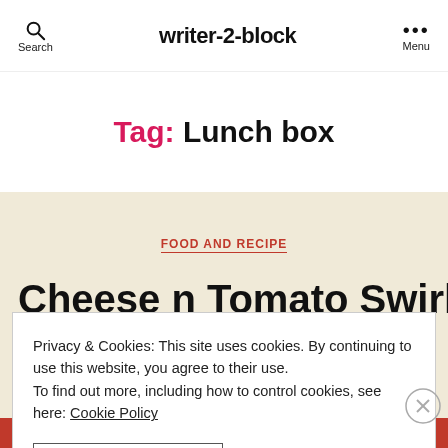writer-2-block — Search | Menu
Tag: Lunch box
FOOD AND RECIPE
Cheese n Tomato Swirly
Privacy & Cookies: This site uses cookies. By continuing to use this website, you agree to their use. To find out more, including how to control cookies, see here: Cookie Policy
CLOSE AND ACCEPT